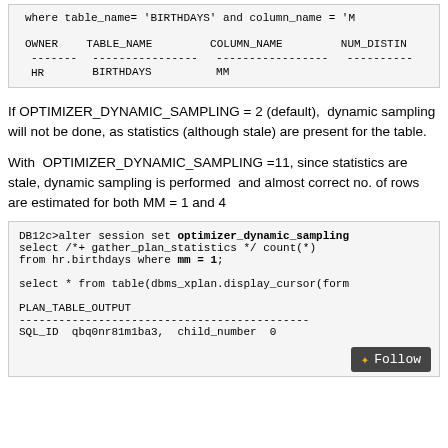| OWNER | TABLE_NAME | COLUMN_NAME | NUM_DISTIN |
| --- | --- | --- | --- |
| HR | BIRTHDAYS | MM |  |
If OPTIMIZER_DYNAMIC_SAMPLING = 2 (default),  dynamic sampling will not be done, as statistics (although stale) are present for the table.
With  OPTIMIZER_DYNAMIC_SAMPLING =11, since statistics are stale, dynamic sampling is performed  and almost correct no. of rows are estimated for both MM = 1 and 4
DB12c>alter session set optimizer_dynamic_sampling
select /*+ gather_plan_statistics */ count(*)
from hr.birthdays where mm = 1;

select * from table(dbms_xplan.display_cursor(form

PLAN_TABLE_OUTPUT
--------------------------------------------
SQL_ID  qbq0nr81m1ba3,  child_number  0